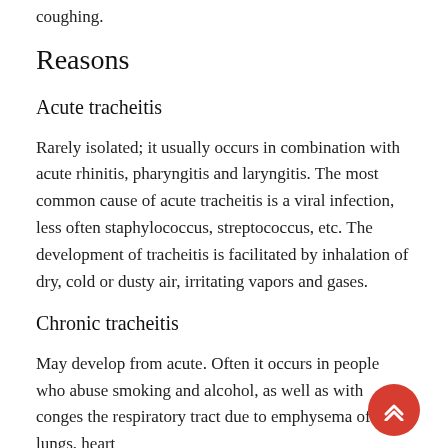coughing.
Reasons
Acute tracheitis
Rarely isolated; it usually occurs in combination with acute rhinitis, pharyngitis and laryngitis. The most common cause of acute tracheitis is a viral infection, less often staphylococcus, streptococcus, etc. The development of tracheitis is facilitated by inhalation of dry, cold or dusty air, irritating vapors and gases.
Chronic tracheitis
May develop from acute. Often it occurs in people who abuse smoking and alcohol, as well as with conges... the respiratory tract due to emphysema of the lungs, heart